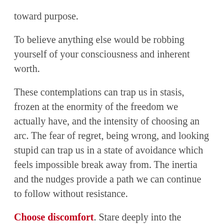toward purpose.
To believe anything else would be robbing yourself of your consciousness and inherent worth.
These contemplations can trap us in stasis, frozen at the enormity of the freedom we actually have, and the intensity of choosing an arc. The fear of regret, being wrong, and looking stupid can trap us in a state of avoidance which feels impossible break away from. The inertia and the nudges provide a path we can continue to follow without resistance.
Choose discomfort. Stare deeply into the rippling water and embrace it as a pool of